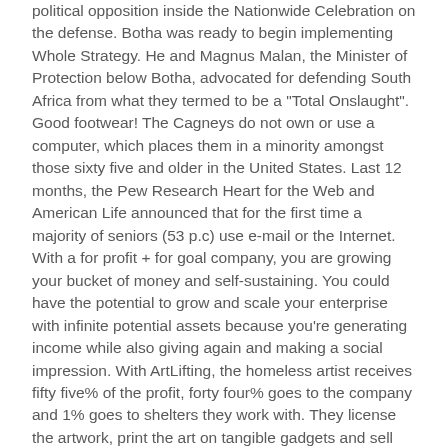political opposition inside the Nationwide Celebration on the defense. Botha was ready to begin implementing Whole Strategy. He and Magnus Malan, the Minister of Protection below Botha, advocated for defending South Africa from what they termed to be a "Total Onslaught". Good footwear! The Cagneys do not own or use a computer, which places them in a minority amongst those sixty five and older in the United States. Last 12 months, the Pew Research Heart for the Web and American Life announced that for the first time a majority of seniors (53 p.c) use e-mail or the Internet. With a for profit + for goal company, you are growing your bucket of money and self-sustaining. You could have the potential to grow and scale your enterprise with infinite potential assets because you're generating income while also giving again and making a social impression. With ArtLifting, the homeless artist receives fifty five% of the profit, forty four% goes to the company and 1% goes to shelters they work with. They license the artwork, print the art on tangible gadgets and sell the original artwork as well as prints. ArtLifting is what's known as a b-corp, a Benefit Corporation. On the similar time, perceptions of poor police efficiency correlate with a...